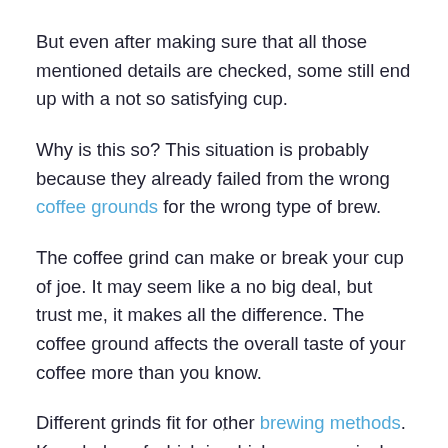But even after making sure that all those mentioned details are checked, some still end up with a not so satisfying cup.
Why is this so? This situation is probably because they already failed from the wrong coffee grounds for the wrong type of brew.
The coffee grind can make or break your cup of joe. It may seem like a no big deal, but trust me, it makes all the difference. The coffee ground affects the overall taste of your coffee more than you know.
Different grinds fit for other brewing methods. Knowledge of which is which can massively improve how your homemade coffee tastes. To help you, we have prepared a coffee grind
ʼ